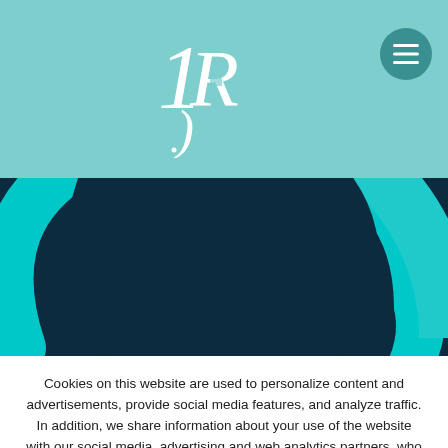[Figure (logo): Logo with stylized '1R' letters in white on teal header background, with hamburger menu button on right]
[Figure (illustration): Dark navy background with large teal curved arrow/circular logo graphic partially visible]
Cookies on this website are used to personalize content and advertisements, provide social media features, and analyze traffic. In addition, we share information about your use of the website with our social media, advertising and web analytics partners, who may combine it with other information that you have provided to them or that they have collected from your use of their services.
ACCEPT COOKIES
SET UP
Política de cookies.